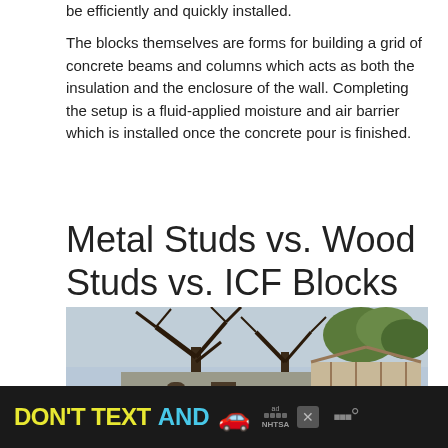be efficiently and quickly installed.
The blocks themselves are forms for building a grid of concrete beams and columns which acts as both the insulation and the enclosure of the wall. Completing the setup is a fluid-applied moisture and air barrier which is installed once the concrete pour is finished.
Metal Studs vs. Wood Studs vs. ICF Blocks
[Figure (photo): Construction photo of a house being built with what appears to be ICF block walls, surrounded by large trees, showing the framing and block wall structure under a cloudy sky.]
[Figure (infographic): Advertisement banner at bottom of page: black background with yellow text 'DON'T TEXT' and cyan text 'AND' followed by a red car emoji, an 'ad' badge, NHTSA logo, close button, and a weather/app logo on the right.]